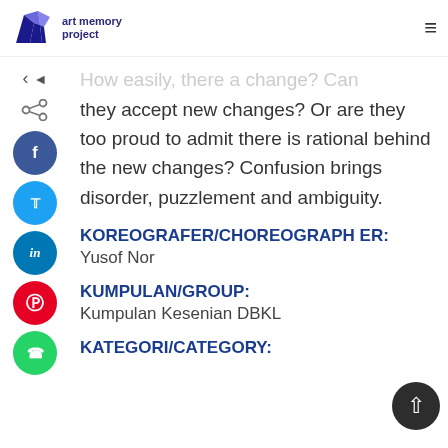art memory project
How easily, there a change? Can they accept new changes? Or are they too proud to admit there is rational behind the new changes? Confusion brings disorder, puzzlement and ambiguity.
KOREOGRAFER/CHOREOGRAPHER:
Yusof Nor
KUMPULAN/GROUP:
Kumpulan Kesenian DBKL
KATEGORI/CATEGORY: